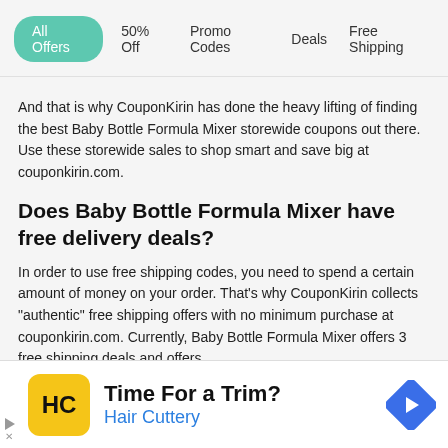All Offers  50% Off  Promo Codes  Deals  Free Shipping
And that is why CouponKirin has done the heavy lifting of finding the best Baby Bottle Formula Mixer storewide coupons out there. Use these storewide sales to shop smart and save big at couponkirin.com.
Does Baby Bottle Formula Mixer have free delivery deals?
In order to use free shipping codes, you need to spend a certain amount of money on your order. That's why CouponKirin collects "authentic" free shipping offers with no minimum purchase at couponkirin.com. Currently, Baby Bottle Formula Mixer offers 3 free shipping deals and offers.
[Figure (other): Advertisement banner for Hair Cuttery with yellow logo, 'Time For a Trim?' headline, and blue navigation arrow icon]